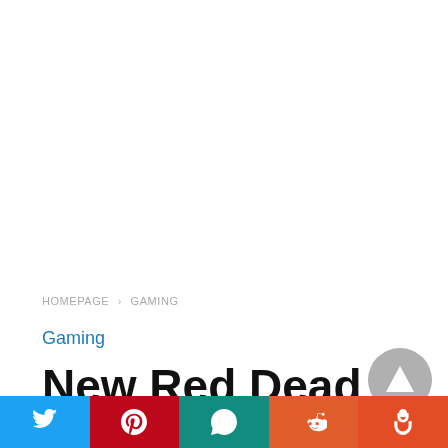HOMEPAGE › GAMING
Gaming
New Red Dead
[Figure (infographic): Social share bar with Twitter, Pinterest, WhatsApp, Reddit, and StumbleUpon buttons at the bottom of the page, plus a scroll-to-top circular button]